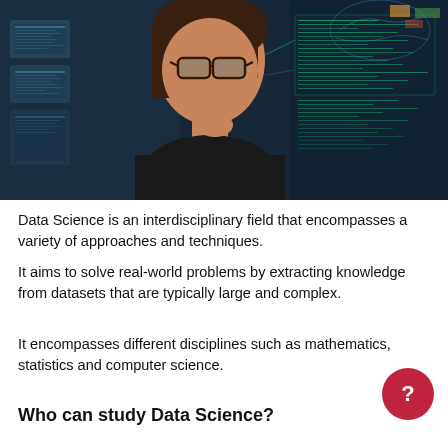[Figure (photo): Woman with glasses sitting in front of multiple computer screens displaying data, with digital data overlay graphics on the right side of the image.]
Data Science is an interdisciplinary field that encompasses a variety of approaches and techniques.
It aims to solve real-world problems by extracting knowledge from datasets that are typically large and complex.
It encompasses different disciplines such as mathematics, statistics and computer science.
Who can study Data Science?